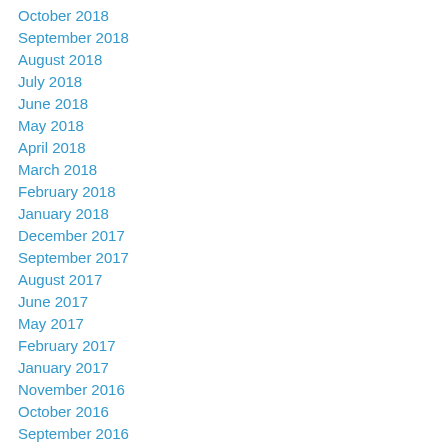October 2018
September 2018
August 2018
July 2018
June 2018
May 2018
April 2018
March 2018
February 2018
January 2018
December 2017
September 2017
August 2017
June 2017
May 2017
February 2017
January 2017
November 2016
October 2016
September 2016